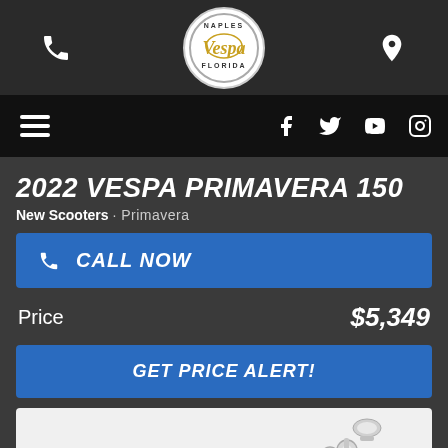Vespa Florida - Naples
2022 VESPA PRIMAVERA 150
New Scooters · Primavera
CALL NOW
Price $5,349
GET PRICE ALERT!
[Figure (photo): Partial view of a silver/white Vespa scooter handlebar and front section on white background]